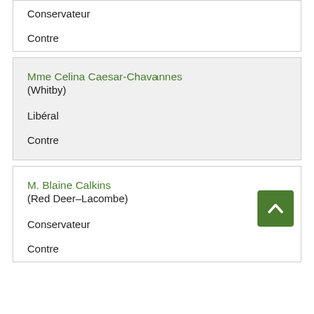Conservateur
Contre
Mme Celina Caesar-Chavannes (Whitby)
Libéral
Contre
M. Blaine Calkins (Red Deer–Lacombe)
Conservateur
Contre